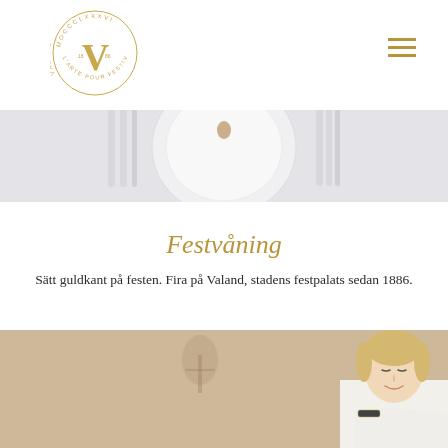[Figure (logo): Valand circular logo with V monogram in gold and Latin text around the circle, MOCCCLXXXVI, L'ARTE POUR FESTIVITÉS]
[Figure (photo): Top-down view of a white dinner plate with silverware on a light background]
Festvåning
Sätt guldkant på festen. Fira på Valand, stadens festpalats sedan 1886.
[Figure (photo): Smiling blonde woman in white uniform with black epaulettes, blurred candleholder in background]